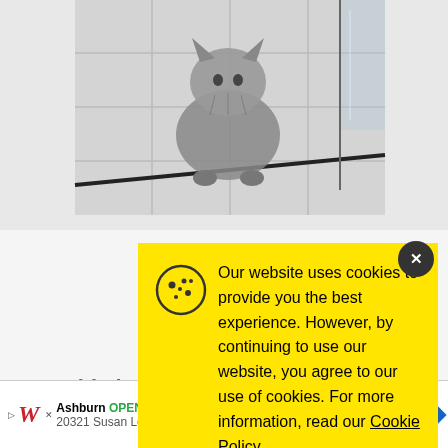[Figure (photo): A kitten standing on a tiled surface, viewed from above, in a veterinary or bathroom setting]
Cystitis i
Cop
Our website uses cookies to provide you the best experience. However, by continuing to use our website, you agree to our use of cookies. For more information, read our Cookie Policy.
Accept
Ashburn  OPEN | 6AM-10PM
20321 Susan Leslie Dr, Ashburn